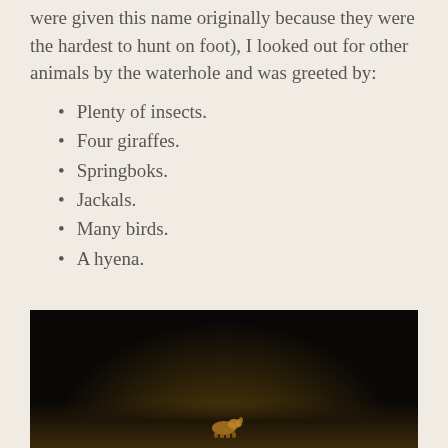were given this name originally because they were the hardest to hunt on foot), I looked out for other animals by the waterhole and was greeted by:
Plenty of insects.
Four giraffes.
Springboks.
Jackals.
Many birds.
A hyena.
[Figure (photo): A dark nighttime photograph near a waterhole, showing a small animal (likely a hyena or jackal) illuminated faintly against a very dark background with dark ground.]